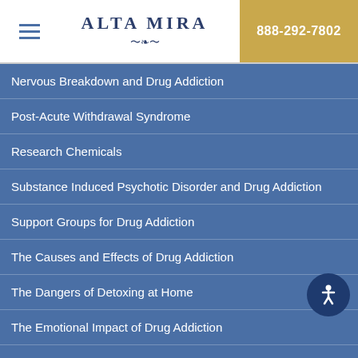ALTA MIRA | 888-292-7802
Nervous Breakdown and Drug Addiction
Post-Acute Withdrawal Syndrome
Research Chemicals
Substance Induced Psychotic Disorder and Drug Addiction
Support Groups for Drug Addiction
The Causes and Effects of Drug Addiction
The Dangers of Detoxing at Home
The Emotional Impact of Drug Addiction
What Are Designer Drugs?
Admissions 888-292-7802